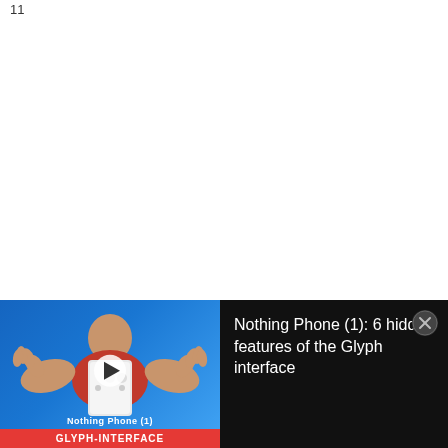11
The Shuffle has that unique Apple “Think Different”
[Figure (screenshot): Video thumbnail showing a person holding a Nothing Phone (1) with hands outstretched, against a blue background. Red banner at bottom reads 'GLYPH-INTERFACE' with 'Nothing Phone (1)' label above it. A play button overlay is centered on the thumbnail. To the right on black background: 'Nothing Phone (1): 6 hidden features of the Glyph interface' with a close button (X circle) in top right corner.]